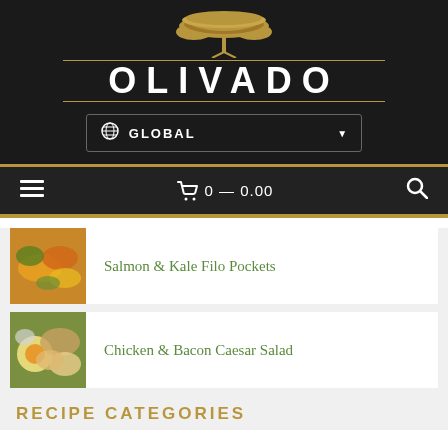[Figure (logo): Olivado brand logo with acacia tree graphic above the text OLIVADO on a dark background]
GLOBAL
☰  🛒 0 — 0.00  🔍
Salmon & Kale Filo Pockets
Chicken & Bacon Caesar Salad
RECIPE CATEGORIES